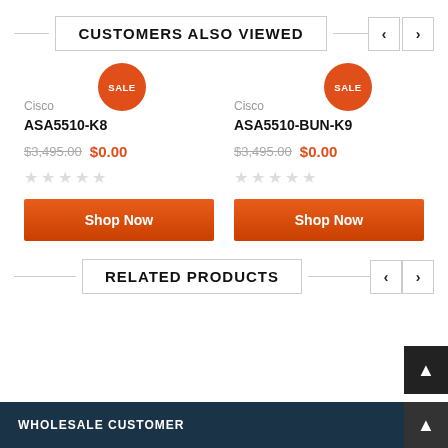CUSTOMERS ALSO VIEWED
Cisco
ASA5510-K8
$3,495.00 $0.00
Cisco
ASA5510-BUN-K9
$3,495.00 $0.00
RELATED PRODUCTS
WHOLESALE CUSTOMER